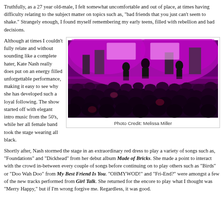Truthfully, as a 27 year old-male, I felt somewhat uncomfortable and out of place, at times having difficulty relating to the subject matter on topics such as, "bad friends that you just can't seem to shake." Strangely enough, I found myself remembering my early teens, filled with rebellion and bad decisions.
Although at times I couldn't fully relate and without sounding like a complete hater, Kate Nash really does put on an energy filled unforgettable performance, making it easy to see why she has developed such a loyal following. The show started off with elegant intro music from the 50's, while her all female band took the stage wearing all black.
[Figure (photo): Concert photo showing Kate Nash performing on stage with vivid purple/pink lighting, crowd visible in foreground, band members on stage with equipment visible]
Photo Credit: Melissa Miller
Shortly after, Nash stormed the stage in an extraordinary red dress to play a variety of songs such as, "Foundations" and "Dickhead" from her debut album Made of Bricks. She made a point to interact with the crowd in-between every couple of songs before continuing on to play others such as "Birds" or "Doo Wah Doo" from My Best Friend Is You. "OHMYWOD!" and "Fri-End?" were amongst a few of the new tracks performed from Girl Talk. She returned for the encore to play what I thought was "Merry Happy," but if I'm wrong forgive me. Regardless, it was good.